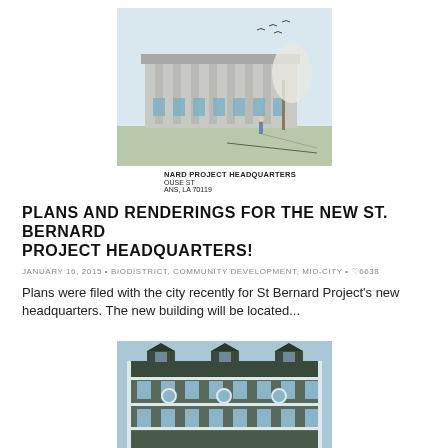[Figure (illustration): Architectural rendering of a modern two-story building labeled NARD PROJECT HEADQUARTERS on OUSE ST, ANS, LA 70119]
NARD PROJECT HEADQUARTERS
OUSE ST
ANS, LA 70119
PLANS AND RENDERINGS FOR THE NEW ST. BERNARD PROJECT HEADQUARTERS!
JANUARY 16, 2015 • BIODISTRICT, COMMUNITY DEVELOPMENT, MID-CITY • ♡6638
Plans were filed with the city recently for St Bernard Project's new headquarters. The new building will be located...
[Figure (illustration): Architectural rendering or photo of a large multi-story colonial-style building with dormers and multiple windows]